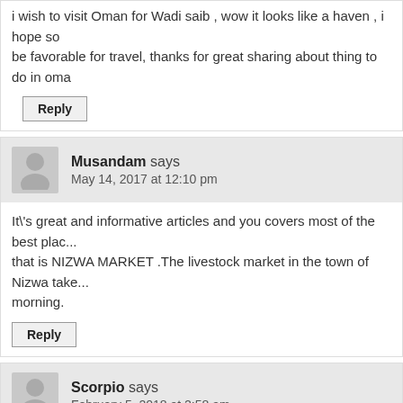i wish to visit Oman for Wadi saib , wow it looks like a haven , i hope so be favorable for travel, thanks for great sharing about thing to do in oma
Reply
Musandam says
May 14, 2017 at 12:10 pm
It\'s great and informative articles and you covers most of the best plac... that is NIZWA MARKET .The livestock market in the town of Nizwa take... morning.
Reply
Scorpio says
February 5, 2018 at 2:58 am
Oman has becomes to be known as one of the most popular tourist des... thanks to the country's strategic location and its unspoilt natural beauty
Reply